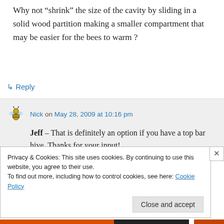Why not “shrink” the size of the cavity by sliding in a solid wood partition making a smaller compartment that may be easier for the bees to warm ?
↳ Reply
Nick on May 28, 2009 at 10:16 pm
Jeff – That is definitely an option if you have a top bar hive. Thanks for your input!
Privacy & Cookies: This site uses cookies. By continuing to use this website, you agree to their use.
To find out more, including how to control cookies, see here: Cookie Policy
Close and accept